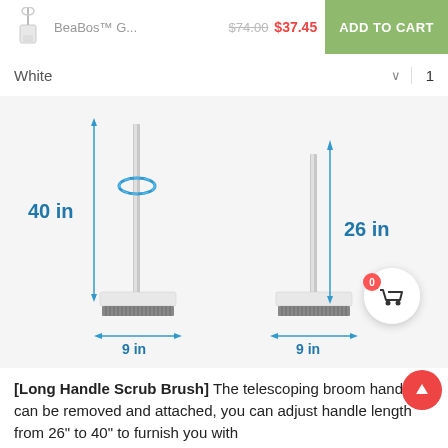BeaBos™ G... $74.00 $37.45 ADD TO CART
White  1
[Figure (photo): Product dimension diagram showing two scrub brushes with long handles. Left brush: 40 in tall, 9 in wide. Right brush: 26 in tall, 9 in wide. Both have gray bristle heads. A blue oval spin indicator is shown near the top of the left brush. Blue arrows indicate measurements.]
[Long Handle Scrub Brush] The telescoping broom handle can be removed and attached, you can adjust handle length from 26" to 40" to furnish you with